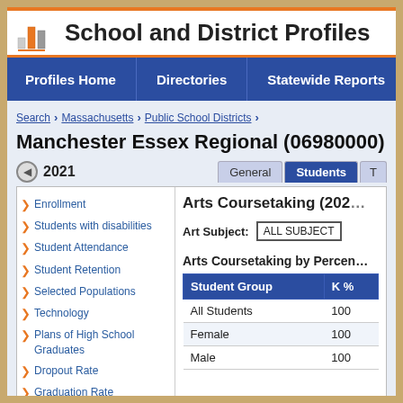[Figure (logo): Bar chart logo icon with orange and gray bars]
School and District Profiles
Profiles Home   Directories   Statewide Reports   Sta
Search > Massachusetts > Public School Districts >
Manchester Essex Regional (06980000)
2021
General   Students   T
Enrollment
Students with disabilities
Student Attendance
Student Retention
Selected Populations
Technology
Plans of High School Graduates
Dropout Rate
Graduation Rate
Mobility Rate
MassCore Completion
Attrition Rates
Class Size by Gender and Selected
Arts Coursetaking (2021)
Art Subject: ALL SUBJECTS
Arts Coursetaking by Percent
| Student Group | K % |
| --- | --- |
| All Students | 100 |
| Female | 100 |
| Male | 100 |